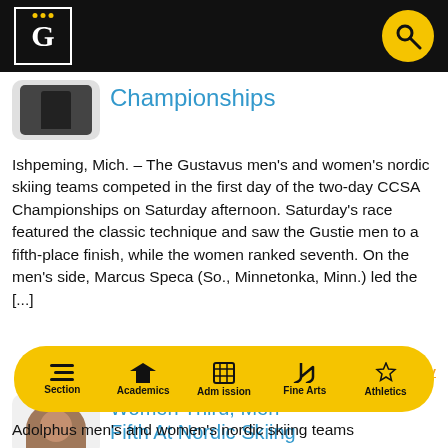Gustavus Adolphus College – site header with logo and search
Championships
Ishpeming, Mich. – The Gustavus men's and women's nordic skiing teams competed in the first day of the two-day CCSA Championships on Saturday afternoon. Saturday's race featured the classic technique and saw the Gustie men to a fifth-place finish, while the women ranked seventh. On the men's side, Marcus Speca (So., Minnetonka, Minn.) led the [...]
February 8, 2014  |  11:33 pm  |  by Tyler Grey
Women Third, Men Fifth At Nordic Skiing
Section | Academics | Admission | Fine Arts | Athletics
Adolphus men's and women's nordic skiing teams